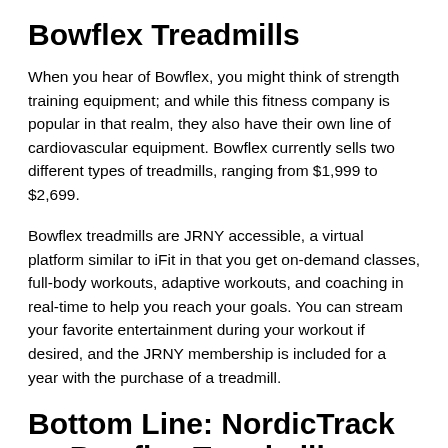Bowflex Treadmills
When you hear of Bowflex, you might think of strength training equipment; and while this fitness company is popular in that realm, they also have their own line of cardiovascular equipment. Bowflex currently sells two different types of treadmills, ranging from $1,999 to $2,699.
Bowflex treadmills are JRNY accessible, a virtual platform similar to iFit in that you get on-demand classes, full-body workouts, adaptive workouts, and coaching in real-time to help you reach your goals. You can stream your favorite entertainment during your workout if desired, and the JRNY membership is included for a year with the purchase of a treadmill.
Bottom Line: NordicTrack vs Bowflex Treadmills
The features will vary from treadmill to treadmill, but the two